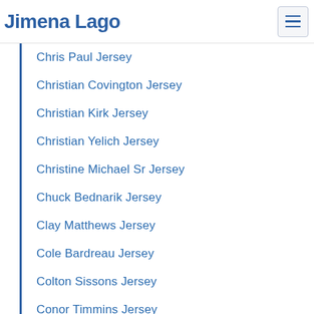Jimena Lago
Chris Paul Jersey
Christian Covington Jersey
Christian Kirk Jersey
Christian Yelich Jersey
Christine Michael Sr Jersey
Chuck Bednarik Jersey
Clay Matthews Jersey
Cole Bardreau Jersey
Colton Sissons Jersey
Conor Timmins Jersey